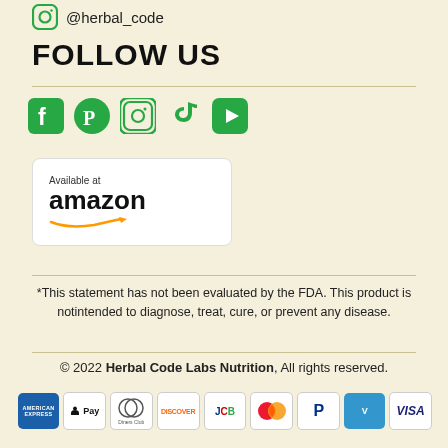@herbal_code
FOLLOW US
[Figure (infographic): Social media icons: Facebook, Pinterest, Instagram, TikTok, YouTube in green]
[Figure (logo): Available at Amazon badge with smile arrow]
*This statement has not been evaluated by the FDA. This product is notintended to diagnose, treat, cure, or prevent any disease.
© 2022 Herbal Code Labs Nutrition, All rights reserved.
[Figure (infographic): Payment method icons: American Express, Apple Pay, Diners Club, Discover, JCB, Mastercard, PayPal, Venmo, Visa]